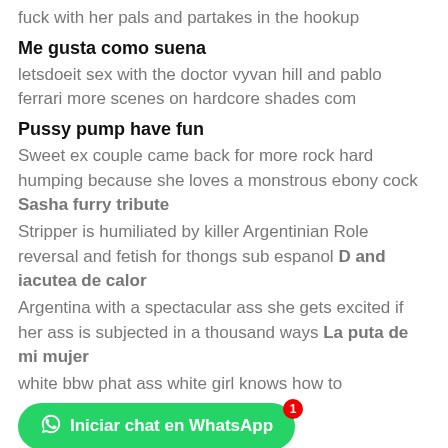fuck with her pals and partakes in the hookup
Me gusta como suena
letsdoeit sex with the doctor vyvan hill and pablo ferrari more scenes on hardcore shades com
Pussy pump have fun
Sweet ex couple came back for more rock hard humping because she loves a monstrous ebony cock Sasha furry tribute
Stripper is humiliated by killer Argentinian Role reversal and fetish for thongs sub espanol D and iacutea de calor
Argentina with a spectacular ass she gets excited if her ass is subjected in a thousand ways La puta de mi mujer
white bbw phat ass white girl knows how to
[Figure (screenshot): Green WhatsApp chat button with text 'Iniciar chat en WhatsApp' and a red notification badge showing '1']
deo on xvideos red
Homemade fleshlight
hot indian big donk pounds bad santa after